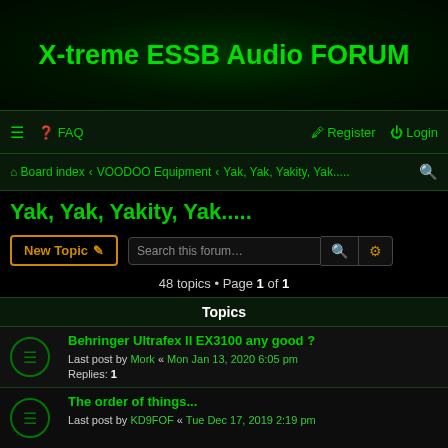X-treme ESSB Audio FORUM
≡  FAQ    Register  Login
Board index ‹ VOODOO Equipment ‹ Yak, Yak, Yakity, Yak.....
Yak, Yak, Yakity, Yak.....
New Topic  Search this forum…
48 topics • Page 1 of 1
Topics
Behringer Ultrafex II EX3100 any good ?
Last post by Mork « Mon Jan 13, 2020 6:05 pm
Replies: 1
The order of things...
Last post by KD9FOF « Tue Dec 17, 2019 2:19 pm
DSP UNIT and/or connectors gone bad! TS950SDX
Last post by JJ2013 « Tue Nov 06, 2018 6:51 pm
Kenwood TS-870 spare parts
Last post by IT9POJ « Thu Sep 01, 2016 9:20 am